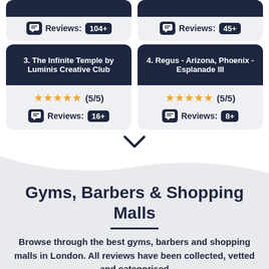[Figure (infographic): Top partial card row showing review badges with Reviews: 104+ and Reviews: 45+]
[Figure (infographic): Card 3: The Infinite Temple by Luminis Creative Club, 5/5 stars, 16+ reviews]
[Figure (infographic): Card 4: Regus - Arizona, Phoenix - Esplanade III, 5/5 stars, 8+ reviews]
[Figure (infographic): Chevron/arrow down symbol]
Gyms, Barbers & Shopping Malls
Browse through the best gyms, barbers and shopping malls in London. All reviews have been collected, vetted and categorised